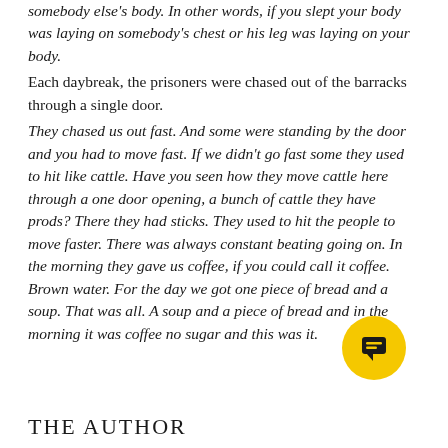somebody else's body. In other words, if you slept your body was laying on somebody's chest or his leg was laying on your body.
Each daybreak, the prisoners were chased out of the barracks through a single door.
They chased us out fast. And some were standing by the door and you had to move fast. If we didn't go fast some they used to hit like cattle. Have you seen how they move cattle here through a one door opening, a bunch of cattle they have prods? There they had sticks. They used to hit the people to move faster. There was always constant beating going on. In the morning they gave us coffee, if you could call it coffee. Brown water. For the day we got one piece of bread and a soup. That was all. A soup and a piece of bread and in the morning it was coffee no sugar and this was it.
[Figure (illustration): Yellow circular chat/comment icon button]
THE AUTHOR